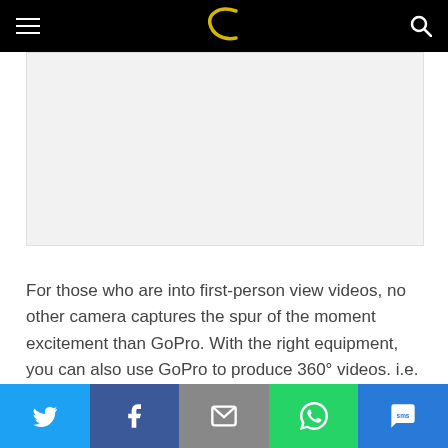Navigation bar with hamburger menu, C logo, and search icon
[Figure (other): Gray advertisement placeholder box]
For those who are into first-person view videos, no other camera captures the spur of the moment excitement than GoPro. With the right equipment, you can also use GoPro to produce 360° videos. i.e. using the Freedom360° GoPro Mount
Share bar with Twitter, Facebook, Email, WhatsApp, SMS buttons